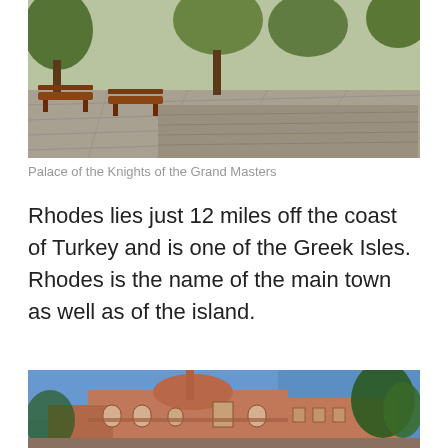[Figure (photo): Outdoor garden area with wooden benches and green trees/vines, stone pathway visible - Palace of the Knights of the Grand Masters]
Palace of the Knights of the Grand Masters
Rhodes lies just 12 miles off the coast of Turkey and is one of the Greek Isles. Rhodes is the name of the main town as well as of the island.
[Figure (photo): A large Ottoman-style mosque or historic building with a minaret, terracotta-colored walls with arched windows against a blue sky, with green trees on the right side]